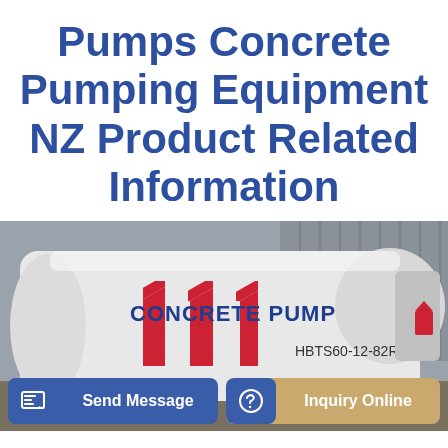Pumps Concrete Pumping Equipment NZ Product Related Information
[Figure (photo): Photo of a white concrete pump unit with red diagonal stripes and blue 'CONCRETE PUMP' lettering, model number HBTS60-12-82R visible on the side, parked in an industrial shed with grey corrugated wall background.]